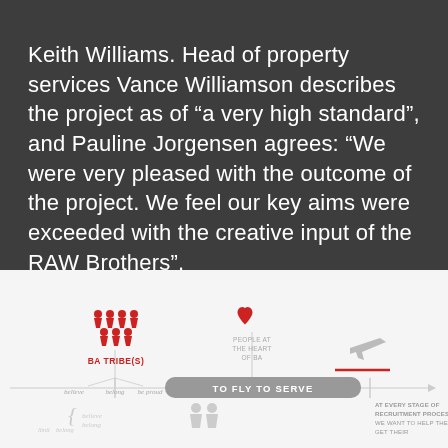Keith Williams. Head of property services Vance Williamson describes the project as of “a very high standard”, and Pauline Jorgensen agrees: “We were very pleased with the outcome of the project. We feel our key aims were exceeded with the creative input of the RAW Brothers”.
[Figure (infographic): British Airways infographic showing the BA Tribe(s) (with people icons in red, and labels: believe, belong, be proud), a heart icon labeled 'PEOPLE AT THE HEART OF BA', a horizontal arrow timeline labeled 'TO FLY TO SERVE', a plane icon (grey), a red horizontal line, and text 'AT EVERY STAGE OF RECRUITMENT PROCESS WE WANT TO HELP THEM GET THEIR']